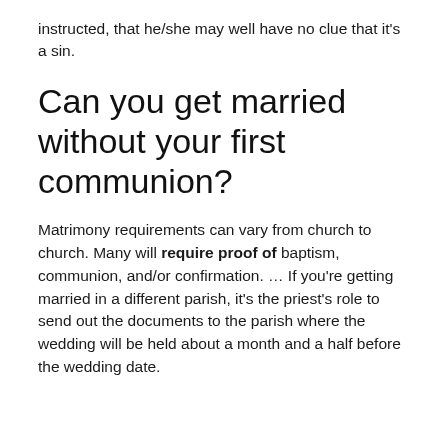instructed, that he/she may well have no clue that it's a sin.
Can you get married without your first communion?
Matrimony requirements can vary from church to church. Many will require proof of baptism, communion, and/or confirmation. … If you're getting married in a different parish, it's the priest's role to send out the documents to the parish where the wedding will be held about a month and a half before the wedding date.